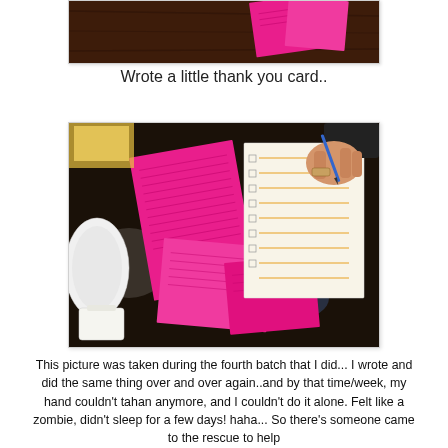[Figure (photo): Top portion of a photo showing a dark wooden table with pink thank-you cards and envelopes]
Wrote a little thank you card..
[Figure (photo): Photo taken during the fourth batch of writing thank you cards. Multiple pink cards with handwriting are spread on a dark table, and a person's hand holds a pen writing on envelopes. A white plate and small handbag are visible on the left.]
This picture was taken during the fourth batch that I did... I wrote and did the same thing over and over again..and by that time/week, my hand couldn't tahan anymore, and I couldn't do it alone. Felt like a zombie, didn't sleep for a few days! haha... So there's someone came to the rescue to help